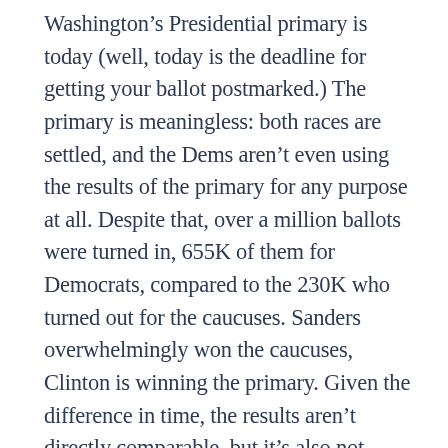Washington's Presidential primary is today (well, today is the deadline for getting your ballot postmarked.) The primary is meaningless: both races are settled, and the Dems aren't even using the results of the primary for any purpose at all. Despite that, over a million ballots were turned in, 655K of them for Democrats, compared to the 230K who turned out for the caucuses. Sanders overwhelmingly won the caucuses, Clinton is winning the primary. Given the difference in time, the results aren't directly comparable, but it's also not surprising that a vote-by-mail primary produced different results than an event